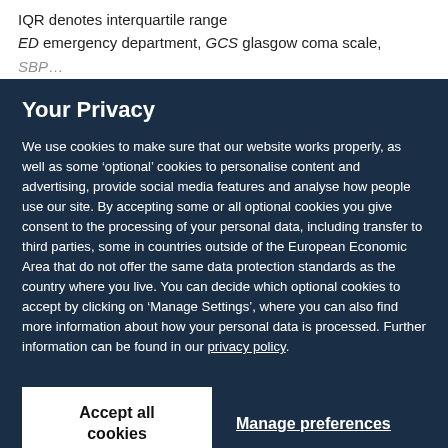IQR denotes interquartile range
ED emergency department, GCS glasgow coma scale,
SBP...
Your Privacy
We use cookies to make sure that our website works properly, as well as some ‘optional’ cookies to personalise content and advertising, provide social media features and analyse how people use our site. By accepting some or all optional cookies you give consent to the processing of your personal data, including transfer to third parties, some in countries outside of the European Economic Area that do not offer the same data protection standards as the country where you live. You can decide which optional cookies to accept by clicking on ‘Manage Settings’, where you can also find more information about how your personal data is processed. Further information can be found in our privacy policy.
Accept all cookies
Manage preferences